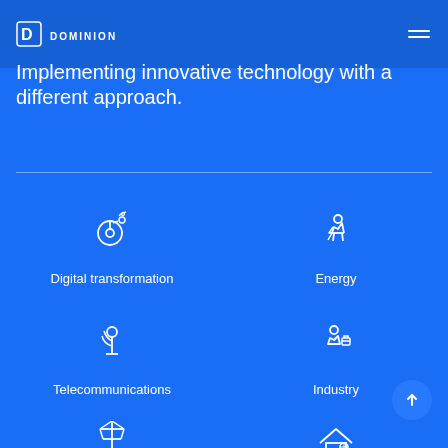[Figure (logo): Dominion company logo - white D icon with DOMINION text]
Implementing innovative technology with a different approach.
[Figure (infographic): Four sector icons in a 2x2 grid: Digital transformation (compass/satellite icon), Energy (lightning bolt human icon), Telecommunications (signal tower icon), Industry (person with tools icon). Two more partial icons at the bottom: Infrastructure (power pole) and Buildings (house).]
Digital transformation
Energy
Telecommunications
Industry